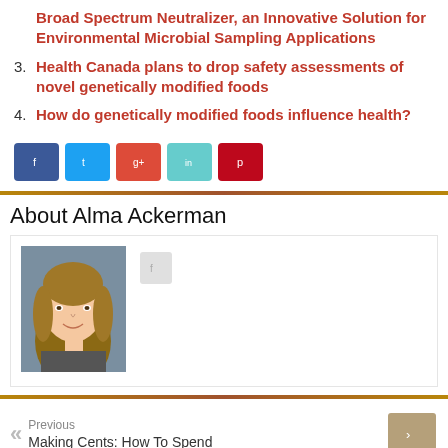Broad Spectrum Neutralizer, an Innovative Solution for Environmental Microbial Sampling Applications
3. Health Canada plans to drop safety assessments of novel genetically modified foods
4. How do genetically modified foods influence health?
[Figure (other): Social share buttons: Facebook, Twitter, Google+, LinkedIn, Pinterest]
About Alma Ackerman
[Figure (photo): Headshot photo of Alma Ackerman, a young woman with long brown hair, smiling, against a dark background]
Previous
Making Cents: How To Spend